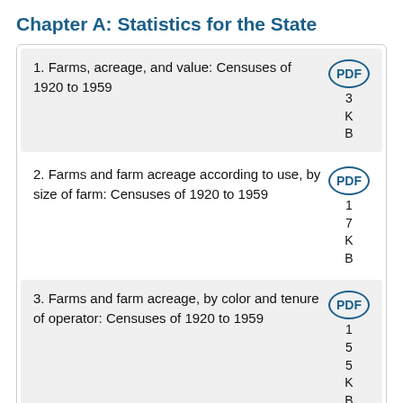Chapter A: Statistics for the State
1. Farms, acreage, and value: Censuses of 1920 to 1959
2. Farms and farm acreage according to use, by size of farm: Censuses of 1920 to 1959
3. Farms and farm acreage, by color and tenure of operator: Censuses of 1920 to 1959